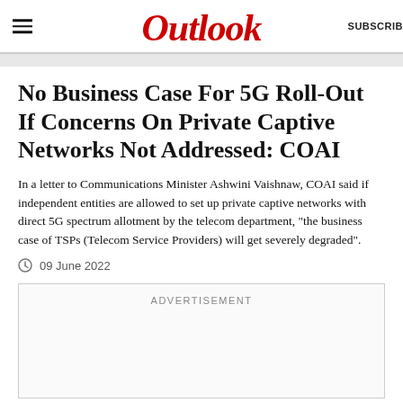Outlook
No Business Case For 5G Roll-Out If Concerns On Private Captive Networks Not Addressed: COAI
In a letter to Communications Minister Ashwini Vaishnaw, COAI said if independent entities are allowed to set up private captive networks with direct 5G spectrum allotment by the telecom department, "the business case of TSPs (Telecom Service Providers) will get severely degraded".
09 June 2022
[Figure (other): Advertisement placeholder box]